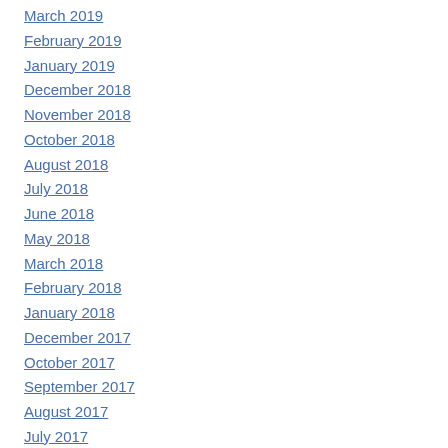March 2019
February 2019
January 2019
December 2018
November 2018
October 2018
August 2018
July 2018
June 2018
May 2018
March 2018
February 2018
January 2018
December 2017
October 2017
September 2017
August 2017
July 2017
June 2017